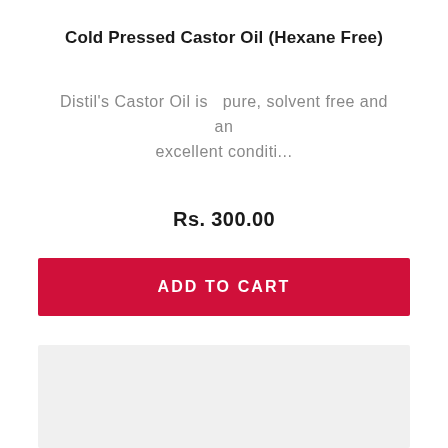Cold Pressed Castor Oil (Hexane Free)
Distil's Castor Oil is  pure, solvent free and an excellent conditi...
Rs. 300.00
ADD TO CART
[Figure (other): Gray placeholder box at the bottom of the page]